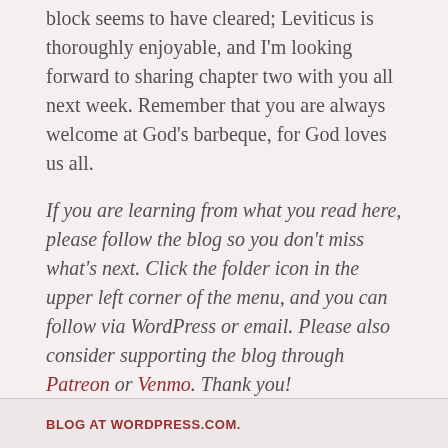block seems to have cleared; Leviticus is thoroughly enjoyable, and I'm looking forward to sharing chapter two with you all next week. Remember that you are always welcome at God's barbeque, for God loves us all.
If you are learning from what you read here, please follow the blog so you don't miss what's next.  Click the folder icon in the upper left corner of the menu, and you can follow via WordPress or email.  Please also consider supporting the blog through Patreon or Venmo.  Thank you!
BLOG AT WORDPRESS.COM.